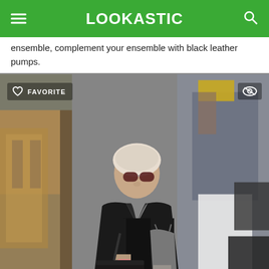LOOKASTIC
ensemble, complement your ensemble with black leather pumps.
[Figure (photo): Woman wearing a black leather jacket, black top, white pants, sunglasses, and a white head wrap/turban, carrying a black handbag and pink phone, walking outside a store. A man in a grey shirt and white pants is visible behind her holding a yellow phone. The photo has a 'FAVORITE' button overlay on the top left and an eye/preview icon on the top right.]